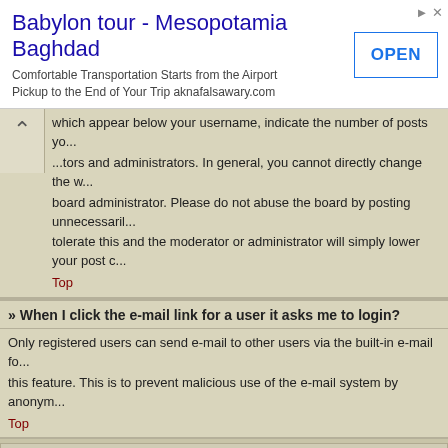[Figure (other): Advertisement banner: Babylon tour - Mesopotamia Baghdad, with OPEN button. Comfortable Transportation Starts from the Airport Pickup to the End of Your Trip aknafalsawary.com]
which appear below your username, indicate the number of posts yo... tors and administrators. In general, you cannot directly change the w... board administrator. Please do not abuse the board by posting unnecessaril... tolerate this and the moderator or administrator will simply lower your post c...
Top
» When I click the e-mail link for a user it asks me to login?
Only registered users can send e-mail to other users via the built-in e-mail fo... this feature. This is to prevent malicious use of the e-mail system by anonym...
Top
Posting Issues
» How do I post a topic in a forum?
To post a new topic in a forum, click the relevant button on either the forum o... you can post a message. A list of your permissions in each forum is availabl... Example: You can post new topics, You can vote in polls, etc.
Top
» How do I edit or delete a post?
Unless you are a board administrator or moderator, you can only edit or del...